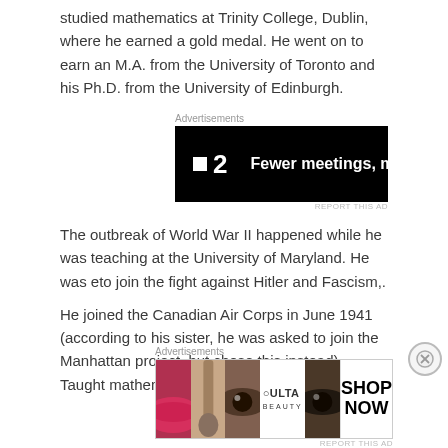studied mathematics at Trinity College, Dublin, where he earned a gold medal. He went on to earn an M.A. from the University of Toronto and his Ph.D. from the University of Edinburgh.
[Figure (other): Advertisement banner for P2 with tagline 'Fewer meetings, more work.' on black background]
The outbreak of World War II happened while he was teaching at the University of Maryland. He was eto join the fight against Hitler and Fascism,.
He joined the Canadian Air Corps in June 1941 (according to his sister, he was asked to join the Manhattan project, but chose this instead). Taught mathematics to pilots.
[Figure (other): Advertisement banner for ULTA beauty showing makeup and eyes imagery with SHOP NOW call to action]